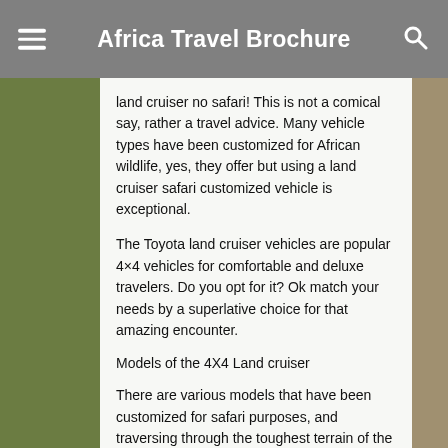Africa Travel Brochure
land cruiser no safari! This is not a comical say, rather a travel advice. Many vehicle types have been customized for African wildlife, yes, they offer but using a land cruiser safari customized vehicle is exceptional.
The Toyota land cruiser vehicles are popular 4×4 vehicles for comfortable and deluxe travelers. Do you opt for it? Ok match your needs by a superlative choice for that amazing encounter.
Models of the 4X4 Land cruiser
There are various models that have been customized for safari purposes, and traversing through the toughest terrain of the continent one should use among these models which include;